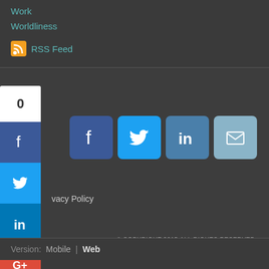Work
Worldliness
RSS Feed
[Figure (screenshot): Social share sidebar with count 0, Facebook, Twitter, LinkedIn, Google+, Tumblr, and more buttons stacked vertically on left side]
[Figure (screenshot): Social media icons row: Facebook, Twitter, LinkedIn, Email (large rounded square buttons)]
vacy Policy
© COPYRIGHT 2015.ALL RIGHTS RESERVED.
Version:  Mobile  |  Web